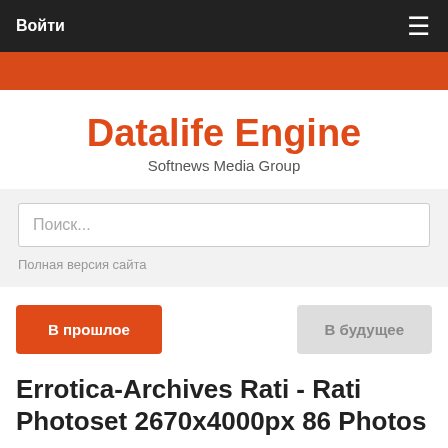Войти  ☰
[Figure (other): Red decorative bar]
Datalife Engine
Softnews Media Group
Поиск...
Полная версия сайта
В прошлое   В будущее
Errotica-Archives Rati - Rati Photoset 2670x4000px 86 Photos